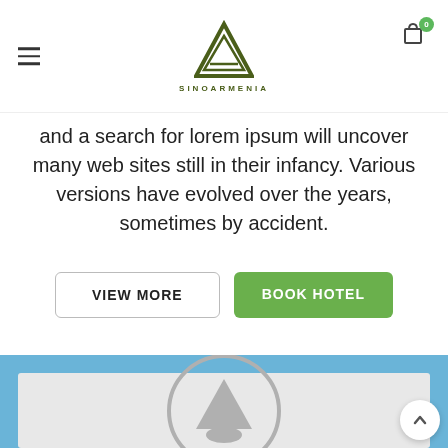SINOARMENIA
and a search for lorem ipsum will uncover many web sites still in their infancy. Various versions have evolved over the years, sometimes by accident.
VIEW MORE
BOOK HOTEL
[Figure (map): Embedded map placeholder with blue background and grey inner map area, showing a tree/location icon in the center]